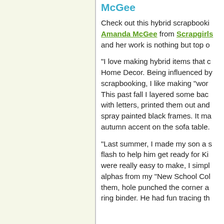McGee
Check out this hybrid scrapbooking by Amanda McGee from Scrapgirls and her work is nothing but top o...
"I love making hybrid items that c... Home Decor. Being influenced by scrapbooking, I like making "word... This past fall I layered some bac... with letters, printed them out and spray painted black frames. It ma... autumn accent on the sofa table.
"Last summer, I made my son a s... flash to help him get ready for Ki... were really easy to make, I simpl... alphas from my "New School Col... them, hole punched the corner a... ring binder. He had fun tracing th...